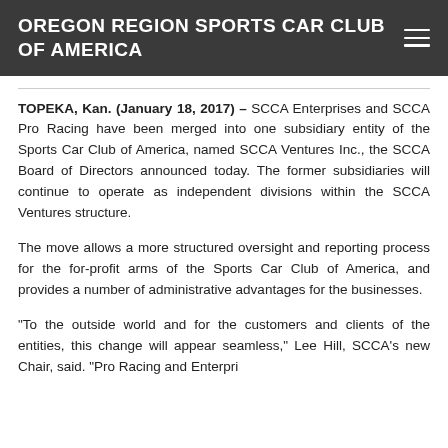OREGON REGION SPORTS CAR CLUB OF AMERICA
TOPEKA, Kan. (January 18, 2017) – SCCA Enterprises and SCCA Pro Racing have been merged into one subsidiary entity of the Sports Car Club of America, named SCCA Ventures Inc., the SCCA Board of Directors announced today. The former subsidiaries will continue to operate as independent divisions within the SCCA Ventures structure.
The move allows a more structured oversight and reporting process for the for-profit arms of the Sports Car Club of America, and provides a number of administrative advantages for the businesses.
"To the outside world and for the customers and clients of the entities, this change will appear seamless," Lee Hill, SCCA's new Chair, said. "Pro Racing and Enterprises...